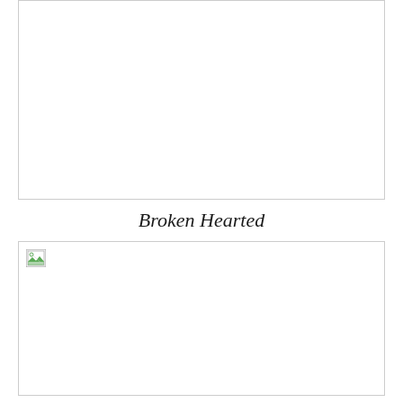[Figure (other): Empty white image area with border at top of page]
Broken Hearted
[Figure (other): Image area with a broken image icon in the top-left corner]